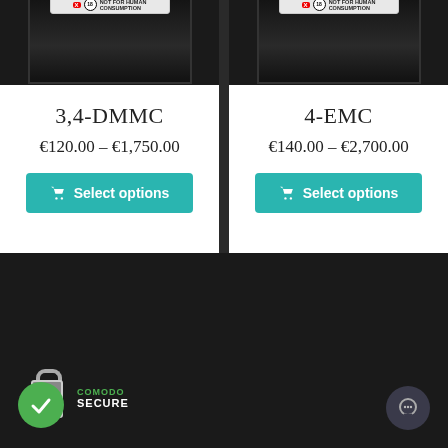[Figure (screenshot): Product bag image for 3,4-DMMC with NOT FOR HUMAN CONSUMPTION label]
3,4-DMMC
€120.00 – €1,750.00
Select options
[Figure (screenshot): Product bag image for 4-EMC with NOT FOR HUMAN CONSUMPTION label]
4-EMC
€140.00 – €2,700.00
Select options
[Figure (logo): Comodo Secure trust badge with green padlock icon]
[Figure (illustration): Dark chat bubble icon button]